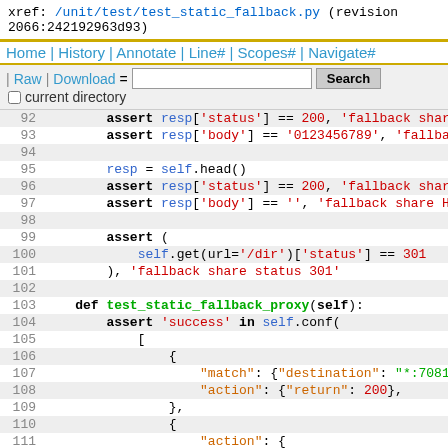xref: /unit/test/test_static_fallback.py (revision 2066:242192963d93)
[Figure (screenshot): Navigation bar with links: Home | History | Annotate | Line# | Scopes# | Navigate#]
[Figure (screenshot): Toolbar with Raw | Download links and Search input box]
current directory checkbox
Code listing lines 92-115 of test_static_fallback.py